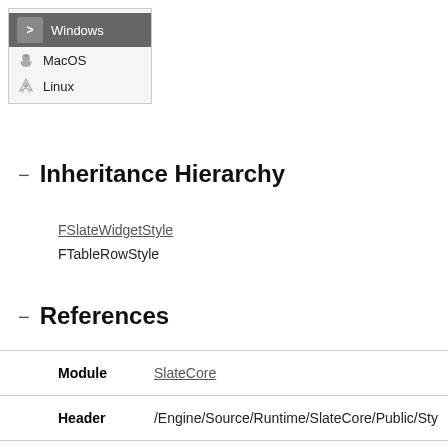[Figure (screenshot): Dropdown menu showing three OS options: Windows (selected, highlighted in grey), MacOS (with Apple icon), Linux (with Tux/penguin icon)]
Inheritance Hierarchy
FSlateWidgetStyle
FTableRowStyle
References
|  |  |
| --- | --- |
| Module | SlateCore |
| Header | /Engine/Source/Runtime/SlateCore/Public/Sty |